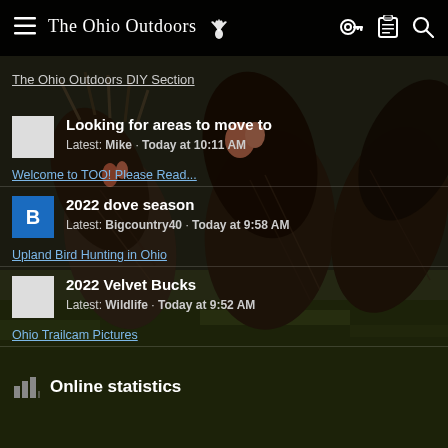The Ohio Outdoors
The Ohio Outdoors DIY Section
Looking for areas to move to · Latest: Mike · Today at 10:11 AM · Welcome to TOO! Please Read...
2022 dove season · Latest: Bigcountry40 · Today at 9:58 AM · Upland Bird Hunting in Ohio
2022 Velvet Bucks · Latest: Wildlife · Today at 9:52 AM · Ohio Trailcam Pictures
Online statistics